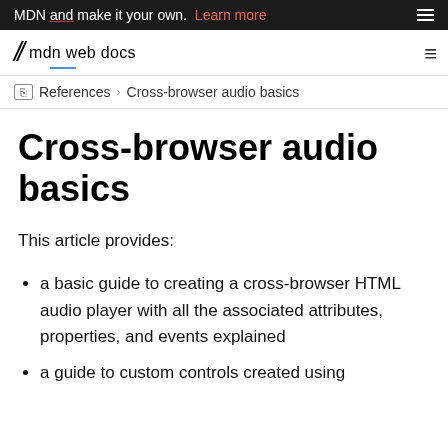MDN and make it your own. Learn more
mdn web docs
References > Cross-browser audio basics
Cross-browser audio basics
This article provides:
a basic guide to creating a cross-browser HTML audio player with all the associated attributes, properties, and events explained
a guide to custom controls created using